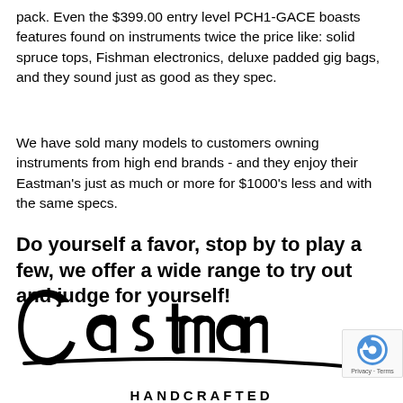pack. Even the $399.00 entry level PCH1-GACE boasts features found on instruments twice the price like: solid spruce tops, Fishman electronics, deluxe padded gig bags, and they sound just as good as they spec.
We have sold many models to customers owning instruments from high end brands - and they enjoy their Eastman's just as much or more for $1000's less and with the same specs.
Do yourself a favor, stop by to play a few, we offer a wide range to try out and judge for yourself!
[Figure (logo): Eastman cursive logo with 'HANDCRAFTED' text below]